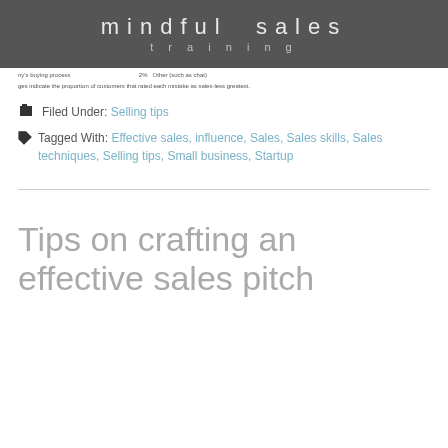mindful sales training
ny's buying process   2%   Other (such as chart)
ges indicate the proportion of customers that rated each mistake as sales-less greatest.
Filed Under: Selling tips
Tagged With: Effective sales, influence, Sales, Sales skills, Sales techniques, Selling tips, Small business, Startup
Tips on crafting an effective sales pitch